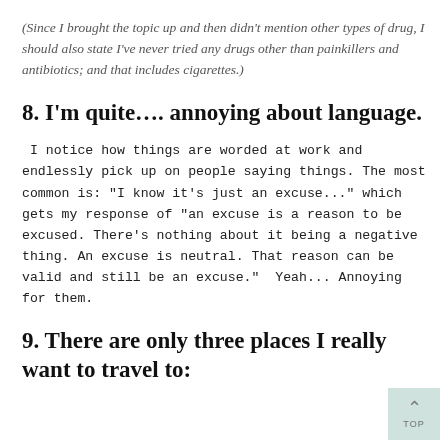(Since I brought the topic up and then didn't mention other types of drug, I should also state I've never tried any drugs other than painkillers and antibiotics; and that includes cigarettes.)
8. I'm quite…. annoying about language.
I notice how things are worded at work and endlessly pick up on people saying things. The most common is: "I know it's just an excuse..." which gets my response of "an excuse is a reason to be excused. There's nothing about it being a negative thing. An excuse is neutral. That reason can be valid and still be an excuse."  Yeah... Annoying for them.
9. There are only three places I really want to travel to: